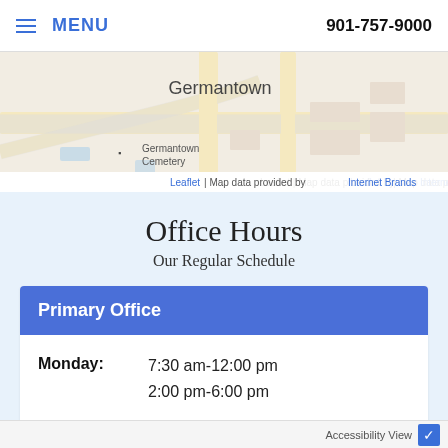≡ MENU  901-757-9000
[Figure (map): Street map showing Germantown area with Germantown Cemetery labeled. Yellow roads visible. Attribution: Leaflet | Map data provided by Internet Brands]
Office Hours
Our Regular Schedule
Primary Office
| Day | Hours |
| --- | --- |
| Monday: | 7:30 am-12:00 pm
2:00 pm-6:00 pm |
| Tuesday: | 7:30 am-12:00 pm
2:00 pm-6:00 pm |
Accessibility View